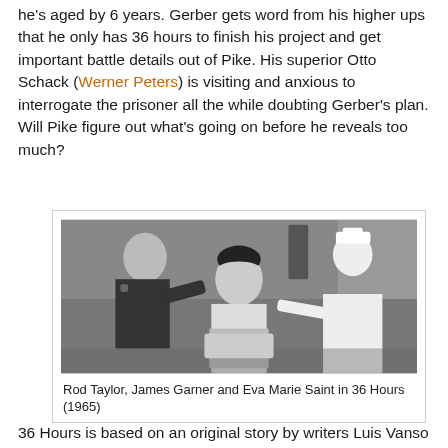he's aged by 6 years. Gerber gets word from his higher ups that he only has 36 hours to finish his project and get important battle details out of Pike. His superior Otto Schack (Werner Peters) is visiting and anxious to interrogate the prisoner all the while doubting Gerber's plan. Will Pike figure out what's going on before he reveals too much?
[Figure (photo): Black and white still photo of Rod Taylor, James Garner and Eva Marie Saint in a scene from 36 Hours (1965). Taylor is in military uniform on the left, Garner is in the center in light-colored clothing, and Saint is on the right in a nurse uniform.]
Rod Taylor, James Garner and Eva Marie Saint in 36 Hours (1965)
36 Hours is based on an original story by writers Luis Vanso